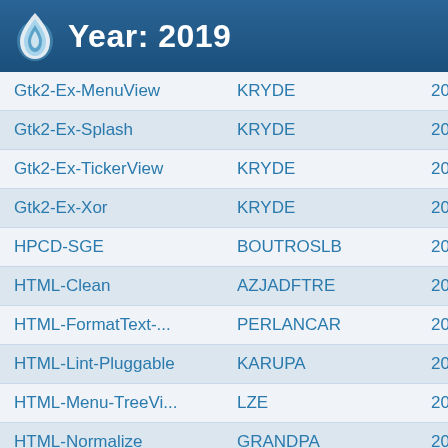Year: 2019
| Gtk2-Ex-MenuView | KRYDE | 2019-09-22 |
| Gtk2-Ex-Splash | KRYDE | 2019-08-17 |
| Gtk2-Ex-TickerView | KRYDE | 2019-11-24 |
| Gtk2-Ex-Xor | KRYDE | 2019-08-24 |
| HPCD-SGE | BOUTROSLB | 2019-01-02 |
| HTML-Clean | AZJADFTRE | 2019-09-13 |
| HTML-FormatText-... | PERLANCAR | 2019-01-14 |
| HTML-Lint-Pluggable | KARUPA | 2019-06-16 |
| HTML-Menu-TreeVi... | LZE | 2019-05-26 |
| HTML-Normalize | GRANDPA | 2019-08-09 |
| HTML-Perlinfo | ACCARDO | 2019-07-02 |